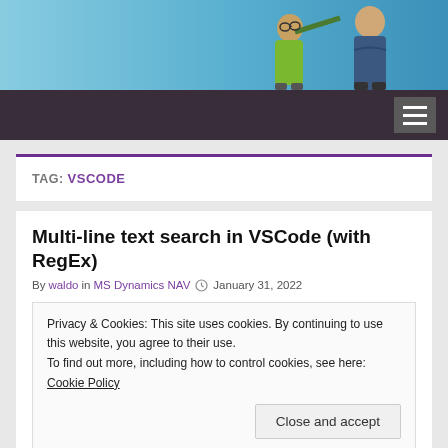[Figure (photo): Header photo showing two children (one wearing sunglasses, one pointing) against a blue sky background]
Navigation bar with hamburger menu icon
TAG: VSCODE
Multi-line text search in VSCode (with RegEx)
By waldo in MS Dynamics NAV  January 31, 2022
Privacy & Cookies: This site uses cookies. By continuing to use this website, you agree to their use.
To find out more, including how to control cookies, see here: Cookie Policy
Close and accept